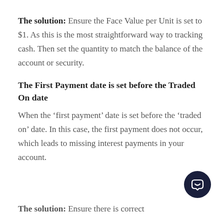The solution: Ensure the Face Value per Unit is set to $1. As this is the most straightforward way to tracking cash. Then set the quantity to match the balance of the account or security.
The First Payment date is set before the Traded On date
When the ‘first payment’ date is set before the ‘traded on’ date. In this case, the first payment does not occur, which leads to missing interest payments in your account.
The solution: Ensure there is correct